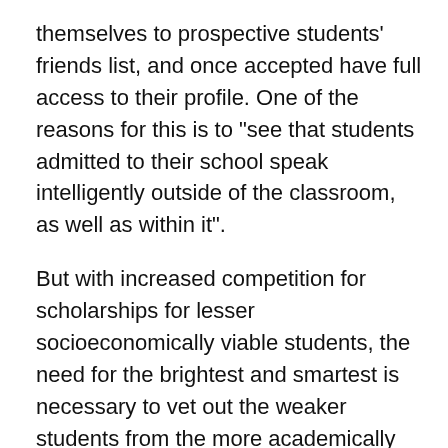themselves to prospective students' friends list, and once accepted have full access to their profile. One of the reasons for this is to "see that students admitted to their school speak intelligently outside of the classroom, as well as within it".
But with increased competition for scholarships for lesser socioeconomically viable students, the need for the brightest and smartest is necessary to vet out the weaker students from the more academically minded.
Yet, this is not the way to go about it. It's unethical, and nothing short of spying. It's a deplorable act of invasion of one's privacy.